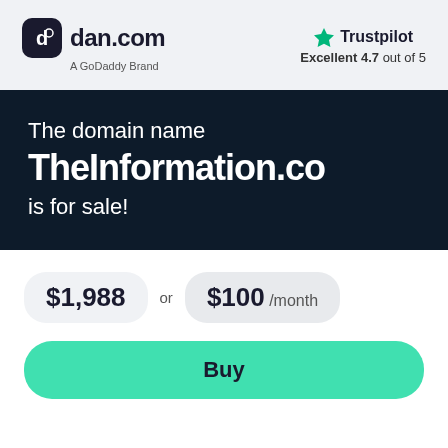[Figure (logo): dan.com logo with shield icon and 'A GoDoddy Brand' subtitle]
[Figure (logo): Trustpilot logo with green star, showing 'Excellent 4.7 out of 5']
The domain name TheInformation.co is for sale!
$1,988 or $100 /month
Buy